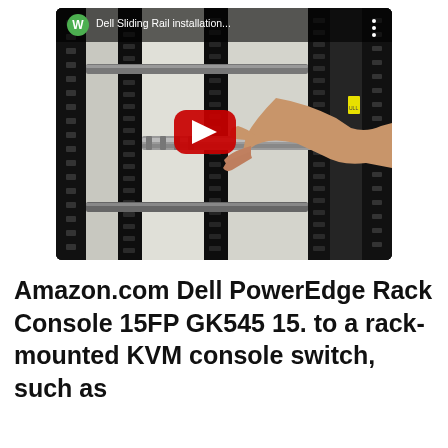[Figure (screenshot): YouTube video thumbnail showing Dell Sliding Rail installation. A person's hand is installing a sliding rail into a black server rack. The video has a red play button overlay in the center. The top bar shows a green 'W' circle avatar and the title 'Dell Sliding Rail installation...' with a three-dot menu icon.]
Amazon.com Dell PowerEdge Rack Console 15FP GK545 15. to a rack-mounted KVM console switch, such as